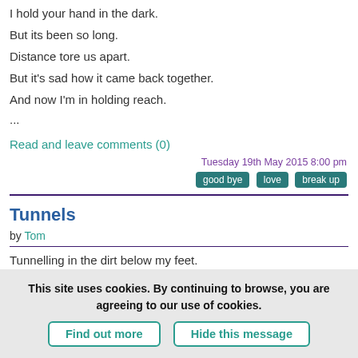I hold your hand in the dark.
But its been so long.
Distance tore us apart.
But it's sad how it came back together.
And now I'm in holding reach.
...
Read and leave comments (0)
Tuesday 19th May 2015 8:00 pm
good bye   love   break up
Tunnels
by Tom
Tunnelling in the dirt below my feet.
This site uses cookies. By continuing to browse, you are agreeing to our use of cookies.
Find out more   Hide this message